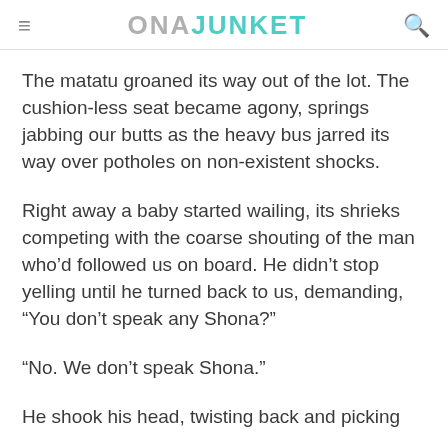ONAJUNKET
The matatu groaned its way out of the lot. The cushion-less seat became agony, springs jabbing our butts as the heavy bus jarred its way over potholes on non-existent shocks.
Right away a baby started wailing, its shrieks competing with the coarse shouting of the man who’d followed us on board. He didn’t stop yelling until he turned back to us, demanding, “You don’t speak any Shona?”
“No. We don’t speak Shona.”
He shook his head, twisting back and picking